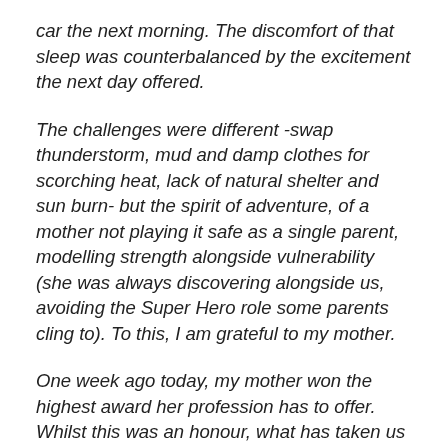car the next morning. The discomfort of that sleep was counterbalanced by the excitement the next day offered.
The challenges were different -swap thunderstorm, mud and damp clothes for scorching heat, lack of natural shelter and sun burn- but the spirit of adventure, of a mother not playing it safe as a single parent, modelling strength alongside vulnerability (she was always discovering alongside us, avoiding the Super Hero role some parents cling to). To this, I am grateful to my mother.
One week ago today, my mother won the highest award her profession has to offer. Whilst this was an honour, what has taken us all by surprise, is the public response she has had. People she knows well, old school friends she hasn't spoken to for decades, former students, to